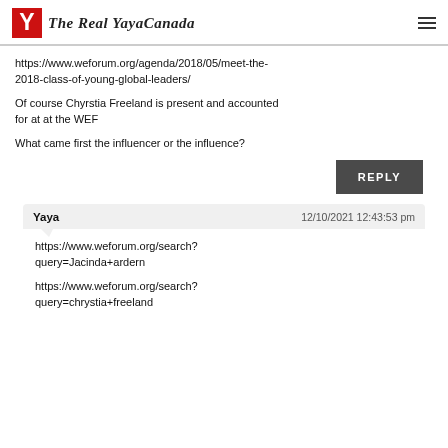The Real YayaCanada
https://www.weforum.org/agenda/2018/05/meet-the-2018-class-of-young-global-leaders/
Of course Chyrstia Freeland is present and accounted for at at the WEF
What came first the influencer or the influence?
REPLY
Yaya  12/10/2021 12:43:53 pm
https://www.weforum.org/search?query=Jacinda+ardern
https://www.weforum.org/search?query=chrystia+freeland